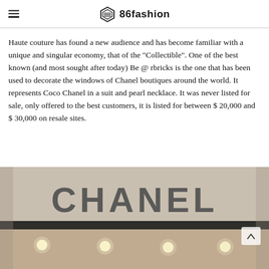86fashion
Haute couture has found a new audience and has become familiar with a unique and singular economy, that of the "Collectible". One of the best known (and most sought after today) Be @ rbricks is the one that has been used to decorate the windows of Chanel boutiques around the world. It represents Coco Chanel in a suit and pearl necklace. It was never listed for sale, only offered to the best customers, it is listed for between $ 20,000 and $ 30,000 on resale sites.
[Figure (photo): Photo of a Chanel boutique storefront showing the CHANEL lettering sign in large grey letters mounted above a dark bar, with warm ceiling lights visible below.]